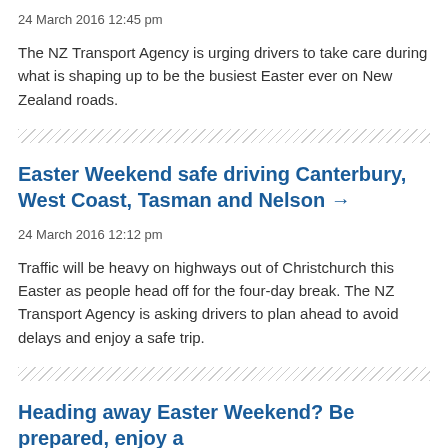24 March 2016 12:45 pm
The NZ Transport Agency is urging drivers to take care during what is shaping up to be the busiest Easter ever on New Zealand roads.
Easter Weekend safe driving Canterbury, West Coast, Tasman and Nelson →
24 March 2016 12:12 pm
Traffic will be heavy on highways out of Christchurch this Easter as people head off for the four-day break. The NZ Transport Agency is asking drivers to plan ahead to avoid delays and enjoy a safe trip.
Heading away Easter Weekend? Be prepared, enjoy a